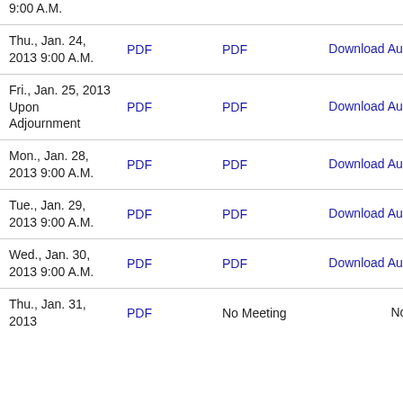| Date | Col2 | Col3 | Col4 |
| --- | --- | --- | --- |
| 9:00 A.M. | PDF | PDF | Download Audio/Video |
| Thu., Jan. 24, 2013 9:00 A.M. | PDF | PDF | Download Audio/Video |
| Fri., Jan. 25, 2013 Upon Adjournment | PDF | PDF | Download Audio/Video |
| Mon., Jan. 28, 2013 9:00 A.M. | PDF | PDF | Download Audio/Video |
| Tue., Jan. 29, 2013 9:00 A.M. | PDF | PDF | Download Audio/Video |
| Wed., Jan. 30, 2013 9:00 A.M. | PDF | PDF | Download Audio/Video |
| Thu., Jan. 31, 2013 | PDF | No Meeting | No Meeting |